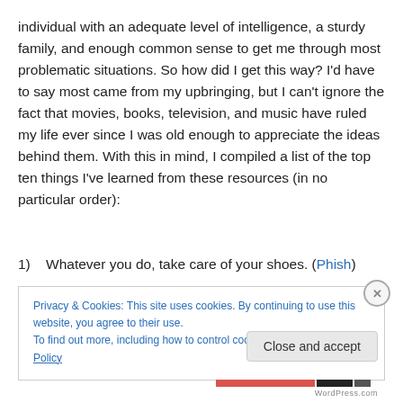individual with an adequate level of intelligence, a sturdy family, and enough common sense to get me through most problematic situations. So how did I get this way? I'd have to say most came from my upbringing, but I can't ignore the fact that movies, books, television, and music have ruled my life ever since I was old enough to appreciate the ideas behind them. With this in mind, I compiled a list of the top ten things I've learned from these resources (in no particular order):
1)   Whatever you do, take care of your shoes. (Phish)
Privacy & Cookies: This site uses cookies. By continuing to use this website, you agree to their use.
To find out more, including how to control cookies, see here: Cookie Policy